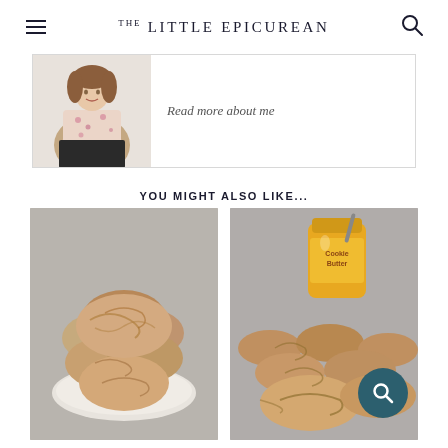THE LITTLE EPICUREAN
[Figure (photo): About section card with a woman posing in a floral top and a 'Read more about me' link]
Read more about me
YOU MIGHT ALSO LIKE...
[Figure (photo): Stack of crinkled sugar cookies on a white plate, overhead/side angle, gray background]
[Figure (photo): Pile of cookie butter cookies next to a jar of Cookie Butter spread, gray background]